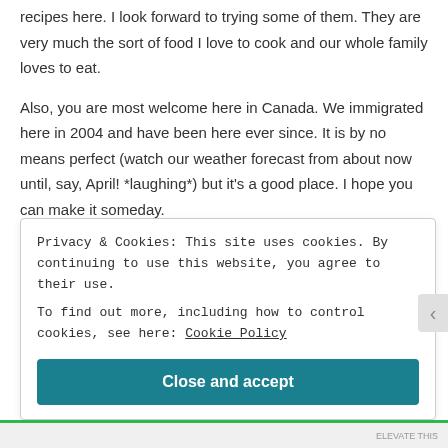recipes here. I look forward to trying some of them. They are very much the sort of food I love to cook and our whole family loves to eat.
Also, you are most welcome here in Canada. We immigrated here in 2004 and have been here ever since. It is by no means perfect (watch our weather forecast from about now until, say, April! *laughing*) but it’s a good place. I hope you can make it someday.
★ Liked by 1 person
Privacy & Cookies: This site uses cookies. By continuing to use this website, you agree to their use.
To find out more, including how to control cookies, see here: Cookie Policy
Close and accept